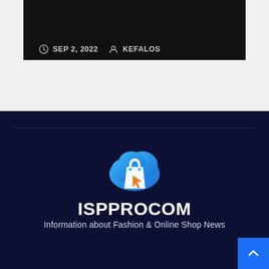SEP 2, 2022   KEFALOS
[Figure (logo): ISPPROCOM logo: blue cloud with white shopping bag and orange cursor arrow]
ISPPROCOM
Information about Fashion & Online Shop News